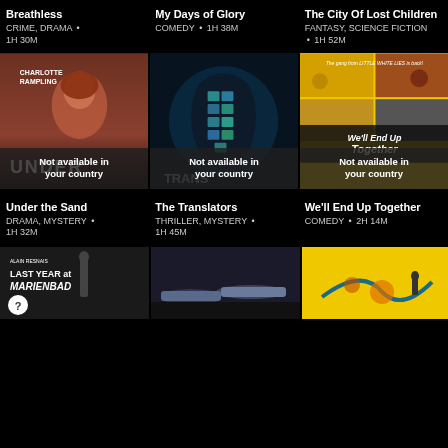Breathless
CRIME, DRAMA • 1H 30M
My Days of Glory
COMEDY • 1H 38M
The City Of Lost Children
FANTASY, SCIENCE FICTION
• 1H 52M
[Figure (photo): Movie poster for Under the Sand with Charlotte Rampling, with overlay text 'Not available in your country']
[Figure (photo): Movie poster for The Translators showing silhouette with grid of faces, with overlay 'Not available in your country']
[Figure (photo): Movie poster for We'll End Up Together with yellow collage style, with overlay 'Not available in your country']
Under the Sand
DRAMA, MYSTERY • 1H 32M
The Translators
THRILLER, MYSTERY • 1H 45M
We'll End Up Together
COMEDY • 2H 14M
[Figure (photo): Movie poster for Last Year at Marienbad, black and white]
[Figure (photo): Movie poster showing people on a street/ground scene]
[Figure (photo): Movie poster with yellow background and abstract illustration]